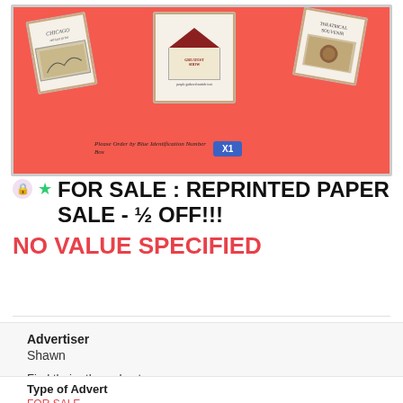[Figure (photo): Product listing image showing reprinted circus/show paper ephemera cards arranged on a red background, with an 'X1' blue badge and text 'Please Order by Blue Identification Number Box']
FOR SALE : REPRINTED PAPER SALE - ½ OFF!!!
NO VALUE SPECIFIED
Advertiser
Shawn

Find their other adverts
Type of Advert
FOR SALE